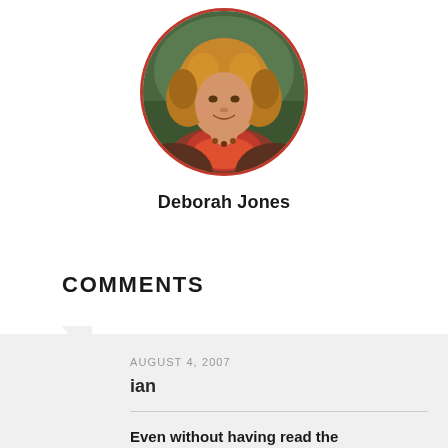[Figure (photo): Circular portrait photo of a woman with curly reddish-blonde hair wearing a red/orange scarf, with a red circular border]
Deborah Jones
COMMENTS
AUGUST 4, 2007
ian
Even without having read the
Even without having read the article, if I had seen the cover, I'd have thought: tell me something I don't